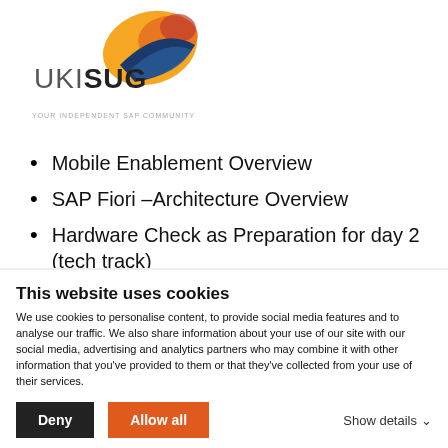[Figure (logo): UKISUG logo with flame/bird graphic and tagline YOUR INDEPENDENT SAP COMMUNITY]
Mobile Enablement Overview
SAP Fiori –Architecture Overview
Hardware Check as Preparation for day 2 (tech track)
On the second day the Design Track offers the possibility to experience and learn basic methods of
This website uses cookies
We use cookies to personalise content, to provide social media features and to analyse our traffic. We also share information about your use of our site with our social media, advertising and analytics partners who may combine it with other information that you've provided to them or that they've collected from your use of their services.